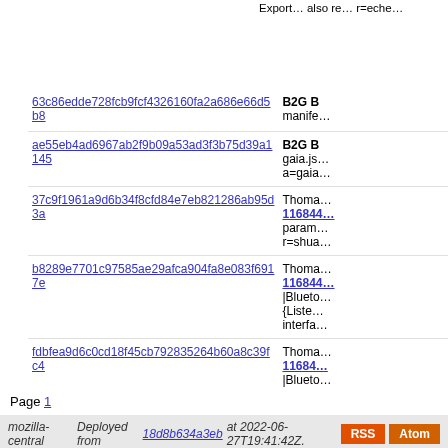Export… also re… r=eche…
| Hash | Description |
| --- | --- |
| 63c86edde728fcb9fcf4326160fa2a686e66d5b8 | B2G B… manife… |
| ae55eb4ad6967ab2f9b09a53ad3f3b75d39a1145 | B2G B… gaia.js… a=gaia… |
| 37c9f1961a9d6b34f8cfd84e7eb821286ab95d3a | Thoma… 116844… param… r=shua… |
| b8289e7701c97585ae29afca904fa8e083f6917e | Thoma… 116844… |Blueto… {Liste… interfa… |
| fdbfea9d6c0cd18f45cb792835264b60a8c39fc4 | Thoma… 11684… |Blueto… r=shua… |
| 543d15b145753962fb4a535150e816234e4c60a2 | Thoma… 116844… from B… r=shua… |
Page 1
mozilla-central   Deployed from 18d8b634a3eb at 2022-06-27T19:41:42Z.   RSS   Atom